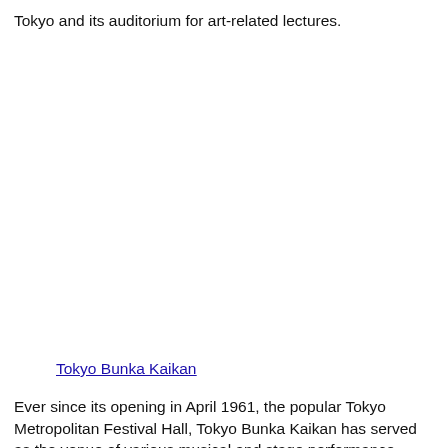Tokyo and its auditorium for art-related lectures.
[Figure (photo): Image of Tokyo Bunka Kaikan (Tokyo Metropolitan Festival Hall), blank/white area in the document scan.]
Tokyo Bunka Kaikan
Ever since its opening in April 1961, the popular Tokyo Metropolitan Festival Hall, Tokyo Bunka Kaikan has served as the venue of various musical and stage performance,